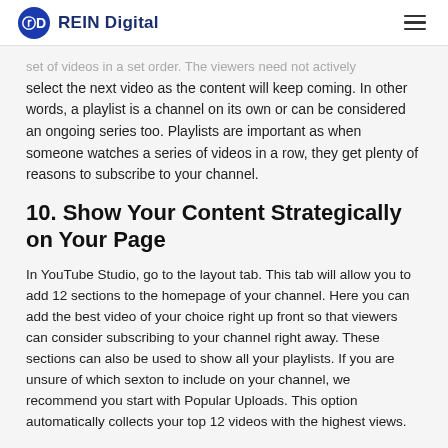REIN Digital
set of videos in a set order. The viewers need not actively select the next video as the content will keep coming. In other words, a playlist is a channel on its own or can be considered an ongoing series too. Playlists are important as when someone watches a series of videos in a row, they get plenty of reasons to subscribe to your channel.
10. Show Your Content Strategically on Your Page
In YouTube Studio, go to the layout tab. This tab will allow you to add 12 sections to the homepage of your channel. Here you can add the best video of your choice right up front so that viewers can consider subscribing to your channel right away. These sections can also be used to show all your playlists. If you are unsure of which sexton to include on your channel, we recommend you start with Popular Uploads. This option automatically collects your top 12 videos with the highest views.